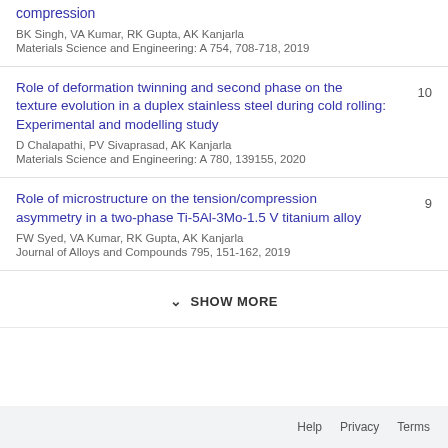compression
BK Singh, VA Kumar, RK Gupta, AK Kanjarla
Materials Science and Engineering: A 754, 708-718, 2019
Role of deformation twinning and second phase on the texture evolution in a duplex stainless steel during cold rolling: Experimental and modelling study
D Chalapathi, PV Sivaprasad, AK Kanjarla
Materials Science and Engineering: A 780, 139155, 2020
Role of microstructure on the tension/compression asymmetry in a two-phase Ti-5Al-3Mo-1.5 V titanium alloy
FW Syed, VA Kumar, RK Gupta, AK Kanjarla
Journal of Alloys and Compounds 795, 151-162, 2019
SHOW MORE
Help  Privacy  Terms